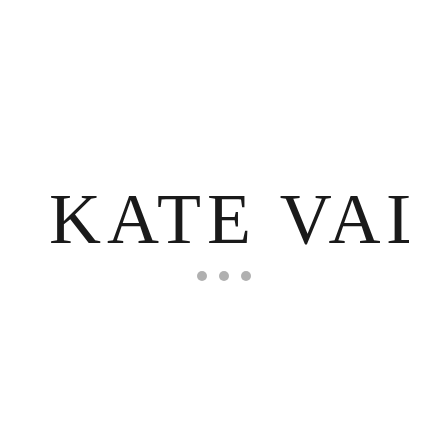[Figure (logo): Kate Valerio brand logo in elegant serif typography with three gray decorative dots below]
[Figure (other): Three small gray circles arranged horizontally, serving as a decorative separator element]